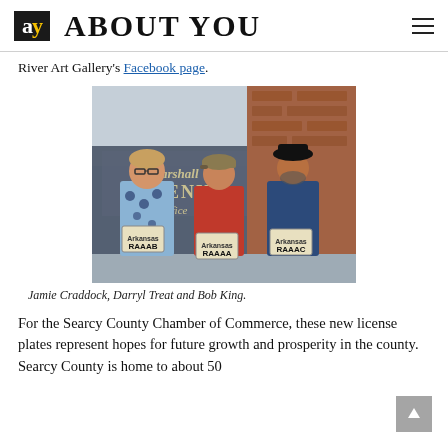ay ABOUT YOU
River Art Gallery's Facebook page.
[Figure (photo): Three people standing in front of Marshall Revenue Office building holding Arkansas license plates. From left: a woman in a blue patterned top holding a plate reading RAAAB, a man in a red shirt and cap holding a plate reading RAAAA, and a man in a black cowboy hat and blue jacket holding a plate reading RAAAC.]
Jamie Craddock, Darryl Treat and Bob King.
For the Searcy County Chamber of Commerce, these new license plates represent hopes for future growth and prosperity in the county. Searcy County is home to about 50